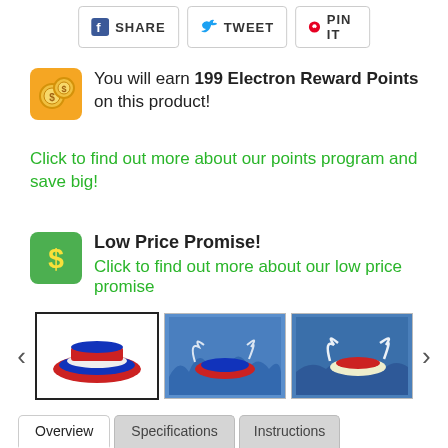[Figure (other): Social share buttons: Facebook SHARE, Twitter TWEET, Pinterest PIN IT]
You will earn 199 Electron Reward Points on this product!
Click to find out more about our points program and save big!
Low Price Promise!
Click to find out more about our low price promise
[Figure (photo): Image carousel with three RC boat photos, selected first thumbnail with border]
Overview  Specifications  Instructions  Spare Parts  Related Items  Reviews